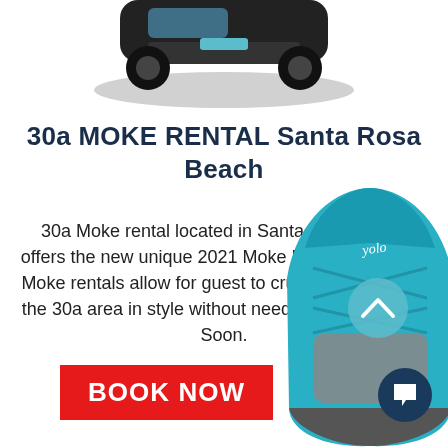[Figure (photo): Top portion of a vehicle (Moke) shown from above, partially cropped, with shadow, against white background]
30a MOKE RENTAL Santa Rosa Beach
30a Moke rental located in Santa Rosa Beach offers the new unique 2021 Moke Rentals.   These Moke rentals allow for guest to cruise up and down the 30a area in style without needing gas.  Coming Soon.
[Figure (photo): Teal/blue YOLO paddleboard shown vertically on the right side of the page, partially cropped]
[Figure (other): Red BOOK NOW button]
[Figure (other): Dark navy circular chat icon button with white speech bubble icon]